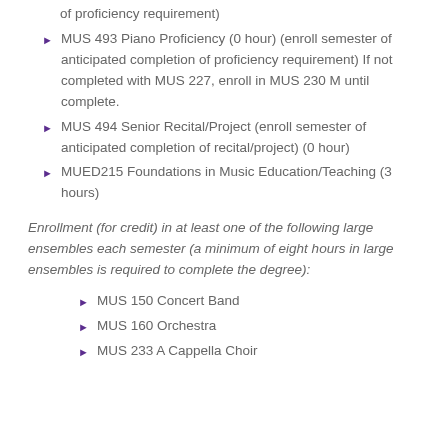of proficiency requirement)
MUS 493 Piano Proficiency (0 hour) (enroll semester of anticipated completion of proficiency requirement) If not completed with MUS 227, enroll in MUS 230 M until complete.
MUS 494 Senior Recital/Project (enroll semester of anticipated completion of recital/project) (0 hour)
MUED215 Foundations in Music Education/Teaching (3 hours)
Enrollment (for credit) in at least one of the following large ensembles each semester (a minimum of eight hours in large ensembles is required to complete the degree):
MUS 150 Concert Band
MUS 160 Orchestra
MUS 233 A Cappella Choir